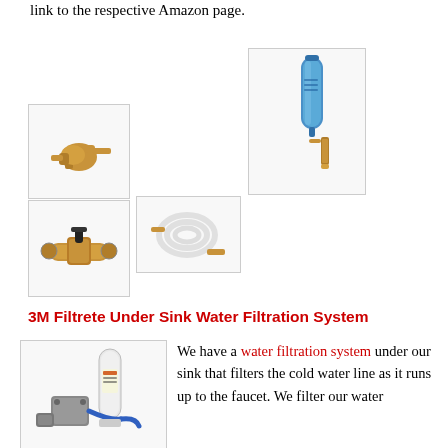link to the respective Amazon page.
[Figure (photo): Brass hose fitting connector]
[Figure (photo): White coiled garden hose with gold connectors]
[Figure (photo): Blue inline water filter with yellow/gold hose connectors]
[Figure (photo): Brass water valve/shutoff with black lever]
3M Filtrete Under Sink Water Filtration System
[Figure (photo): 3M Filtrete under sink water filtration system with white cylinder filter, mounting bracket, and blue hose]
We have a water filtration system under our sink that filters the cold water line as it runs up to the faucet. We filter our water